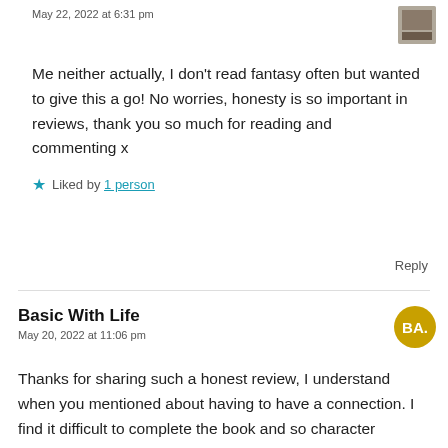May 22, 2022 at 6:31 pm
Me neither actually, I don't read fantasy often but wanted to give this a go! No worries, honesty is so important in reviews, thank you so much for reading and commenting x
★ Liked by 1 person
Reply
Basic With Life
May 20, 2022 at 11:06 pm
Thanks for sharing such a honest review, I understand when you mentioned about having to have a connection. I find it difficult to complete the book and so character building is paramount. Thank you again